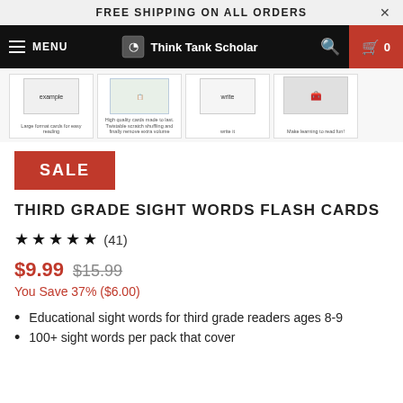FREE SHIPPING ON ALL ORDERS
[Figure (screenshot): Navigation bar for Think Tank Scholar with menu, logo, search, and cart icons]
[Figure (screenshot): Four product thumbnail images showing flash cards]
SALE
THIRD GRADE SIGHT WORDS FLASH CARDS
★★★★★ (41)
$9.99 $15.99
You Save 37% ($6.00)
Educational sight words for third grade readers ages 8-9
100+ sight words per pack that cover